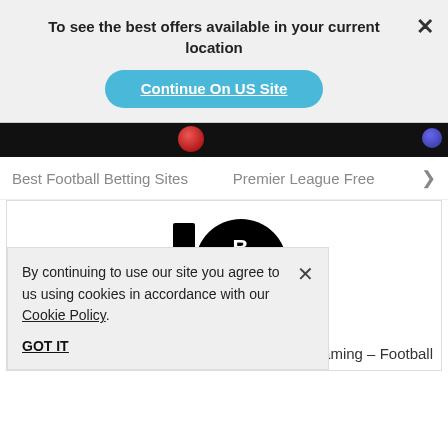To see the best offers available in your current location
Continue On US Site
[Figure (screenshot): Dark banner strip with a red soccer ball partially visible on left-center and a blue circular badge on right]
Best Football Betting Sites   Premier League Free >
[Figure (logo): 10Bet logo — black numeral 10 with a black circle containing BET in white bold text]
Established 2003
Inplay Football Y/N   Live Streaming - Football
By continuing to use our site you agree to us using cookies in accordance with our Cookie Policy.
GOT IT